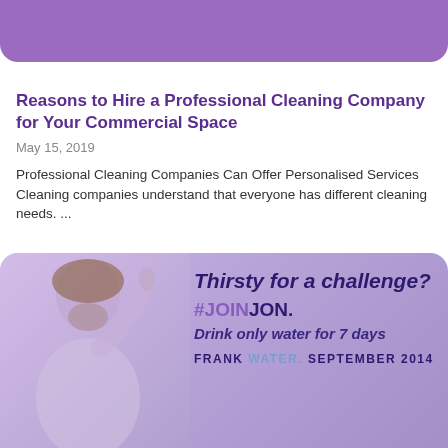[Figure (other): Purple rounded header bar at top of page]
Reasons to Hire a Professional Cleaning Company for Your Commercial Space
May 15, 2019
Professional Cleaning Companies Can Offer Personalised Services Cleaning companies understand that everyone has different cleaning needs. ...
[Figure (photo): Advertisement banner with a man pointing upward on left side and text on right: 'Thirsty for a challenge? #JOINJON. Drink only water for 7 days. FRANK WATER. SEPTEMBER 2014']